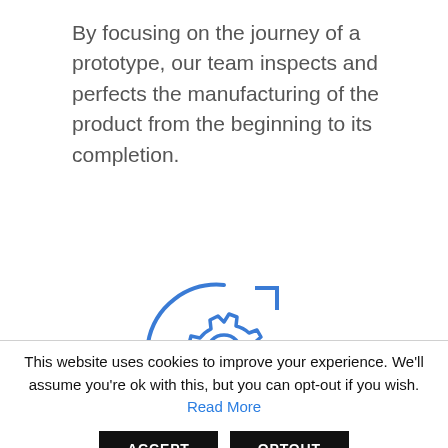By focusing on the journey of a prototype, our team inspects and perfects the manufacturing of the product from the beginning to its completion.
[Figure (illustration): Blue line-art icon showing a gear/cog inside a circular process arrow with bracket corner markers, representing a manufacturing or engineering process cycle.]
This website uses cookies to improve your experience. We'll assume you're ok with this, but you can opt-out if you wish. Read More